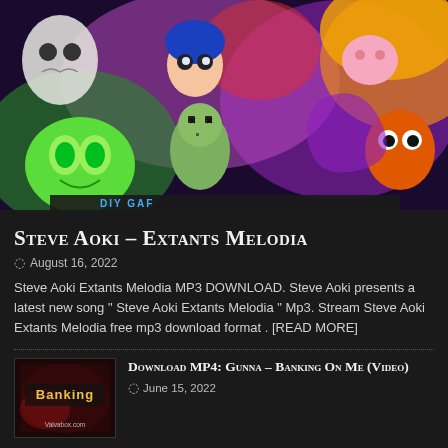[Figure (illustration): Colorful psychedelic cartoon illustration with various characters including an alien, zombies, cartoon girls with big eyes, animals, and colorful monsters on dark background]
Steve Aoki – Extants Melodia
August 16, 2022
Steve Aoki Extants Melodia MP3 DOWNLOAD. Steve Aoki presents a latest new song " Steve Aoki Extants Melodia " Mp3. Stream Steve Aoki Extants Melodia free mp3 download format . [READ MORE]
[Figure (photo): Thumbnail image showing 'Banking' text with Valvabox.com watermark, dark background with reddish tones]
DOWNLOAD MP4: Gunna – Banking On Me (VIDEO)
June 15, 2022